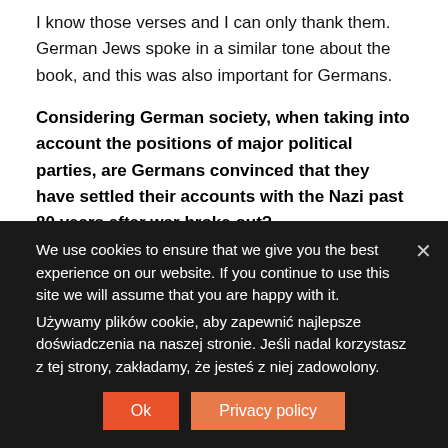I know those verses and I can only thank them. German Jews spoke in a similar tone about the book, and this was also important for Germans.
Considering German society, when taking into account the positions of major political parties, are Germans convinced that they have settled their accounts with the Nazi past 80 years after war broke out?
This is a difficult question, because the account of the darkest chapters of German history can probably never be considered closed. Every year, new scientific papers are written and published,
We use cookies to ensure that we give you the best experience on our website. If you continue to use this site we will assume that you are happy with it.
Używamy plików cookie, aby zapewnić najlepsze doświadczenia na naszej stronie. Jeśli nadal korzystasz z tej strony, zakładamy, że jesteś z niej zadowolony.
Ok
Privacy policy